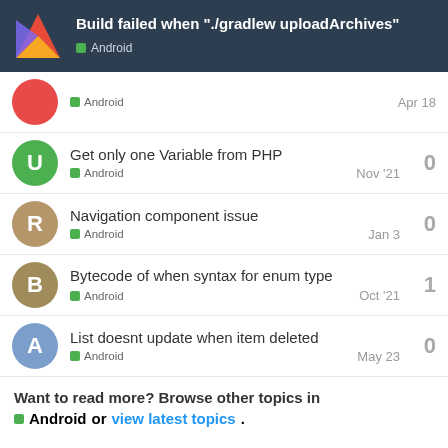Build failed when "./gradlew uploadArchives" — Android
Android — Apr 18 — (reply count: partially visible)
Get only one Variable from PHP — Android — Nov '21 — 0 replies
Navigation component issue — Android — Jan 3 — 0 replies
Bytecode of when syntax for enum type — Android — Oct '21 — 1 reply
List doesnt update when item deleted — Android — May 23 — 0 replies
Want to read more? Browse other topics in Android or view latest topics.